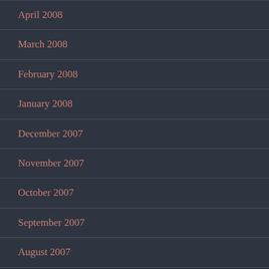April 2008
March 2008
February 2008
January 2008
December 2007
November 2007
October 2007
September 2007
August 2007
July 2007
June 2007
May 2007